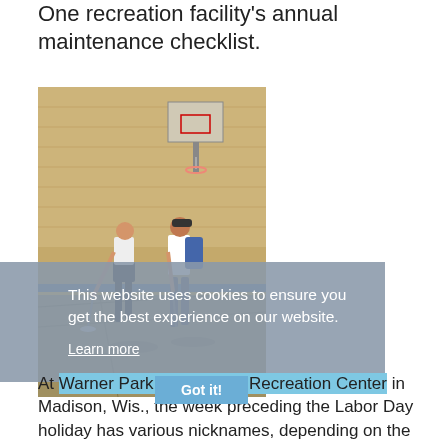One recreation facility's annual maintenance checklist.
[Figure (photo): Two workers mopping/cleaning a gymnasium floor inside a recreation center. A basketball hoop is visible on the wall in the background.]
This website uses cookies to ensure you get the best experience on our website. Learn more
At Warner Park Community Recreation Center in Madison, Wis., the week preceding the Labor Day holiday has various nicknames, depending on the staff...